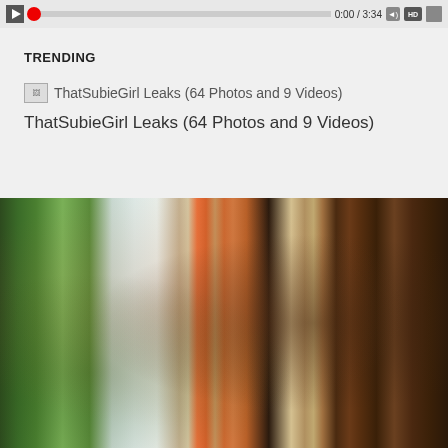[Figure (screenshot): Video player control bar with play button, red progress bar at start, time display showing 0:00/3:34, volume icon, HD badge, and fullscreen icon]
TRENDING
ThatSubieGirl Leaks (64 Photos and 9 Videos)
ThatSubieGirl Leaks (64 Photos and 9 Videos)
[Figure (photo): Photo of a woman in an orange bikini posing in a room with a plant on the left and a wooden barn door on the right]